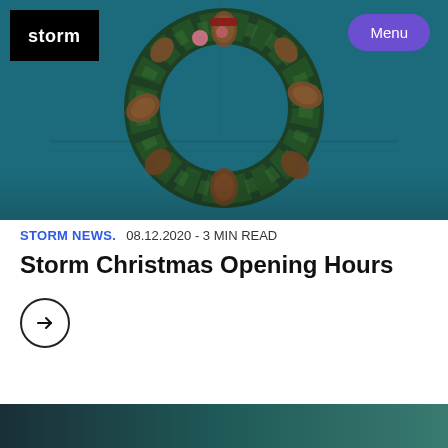[Figure (photo): A Christmas wreath with pine cones and pink ornaments hanging on a teal/dark blue panelled door. Storm logo in black box top-left, purple rounded Menu button top-right.]
STORM NEWS.  08.12.2020 - 3 MIN READ
Storm Christmas Opening Hours
[Figure (other): Arrow in circle button (→) linking to the article]
[Figure (photo): Bottom strip image — dark teal/green gradient, partially cropped]